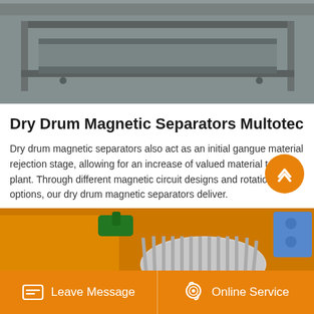[Figure (photo): Close-up photo of a grey metal dry drum magnetic separator machine frame and tray, industrial equipment]
Dry Drum Magnetic Separators Multotec
Dry drum magnetic separators also act as an initial gangue material rejection stage, allowing for an increase of valued material to the plant. Through different magnetic circuit designs and rotation speed options, our dry drum magnetic separators deliver.
[Figure (photo): Industrial photo of orange-framed dry drum magnetic separator machines with rotating drum mechanisms in a plant setting]
Leave Message | Online Service